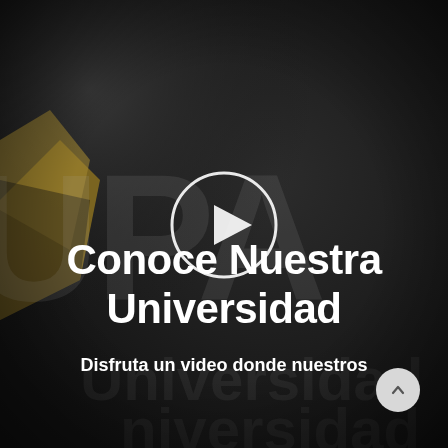[Figure (photo): Dark close-up photo of university branded material/book with large letters visible in background. Includes a circular play button icon in the center. Gold/yellow accent visible in upper left corner.]
Conoce Nuestra Universidad
Disfruta un video donde nuestros